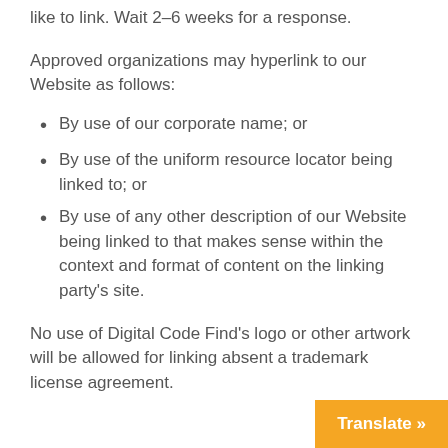like to link. Wait 2-6 weeks for a response.
Approved organizations may hyperlink to our Website as follows:
By use of our corporate name; or
By use of the uniform resource locator being linked to; or
By use of any other description of our Website being linked to that makes sense within the context and format of content on the linking party's site.
No use of Digital Code Find's logo or other artwork will be allowed for linking absent a trademark license agreement.